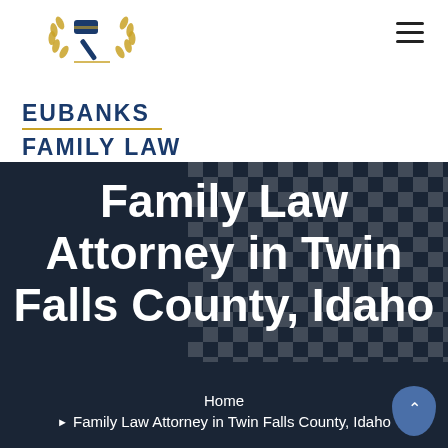[Figure (logo): Eubanks Family Law logo with gavel and laurel wreath in gold and navy blue]
Family Law Attorney in Twin Falls County, Idaho
Home
▸ Family Law Attorney in Twin Falls County, Idaho